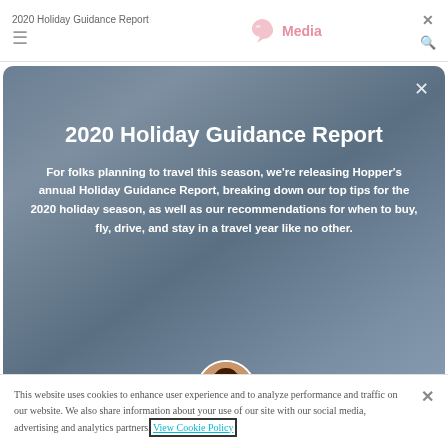2020 Holiday Guidance Report | Media
2020 Holiday Guidance Report
For folks planning to travel this season, we're releasing Hopper's annual Holiday Guidance Report, breaking down our top tips for the 2020 holiday season, as well as our recommendations for when to buy, fly, drive, and stay in a travel year like no other.
[Figure (photo): Circular avatar photo of a woman]
This website uses cookies to enhance user experience and to analyze performance and traffic on our website. We also share information about your use of our site with our social media, advertising and analytics partners. View Cookie Policy